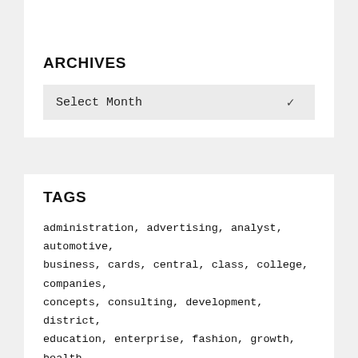ARCHIVES
Select Month
TAGS
administration, advertising, analyst, automotive, business, cards, central, class, college, companies, concepts, consulting, development, district, education, enterprise, fashion, growth, health, house, ideas, improvement, information, insurance, intelligence, leisure, management, mastercard, methods, online, planning, plans, playing, proposal, proposals, small, software, strategies, supervisor, technology, templates, travel, world, write, writing